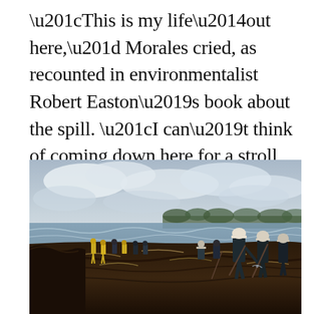“This is my life—out here,” Morales cried, as recounted in environmentalist Robert Easton’s book about the spill. “I can’t think of coming down here for a stroll again. I can’t think of some day bringing my children here to watch and to play.”
[Figure (photo): Workers in protective gear and hard hats cleaning up an oil-covered beach shoreline. The beach is blackened with oil and covered in debris. Several workers in yellow and dark clothing are visible working along the water's edge. Overcast sky with clouds in the background, and trees visible on a distant headland.]